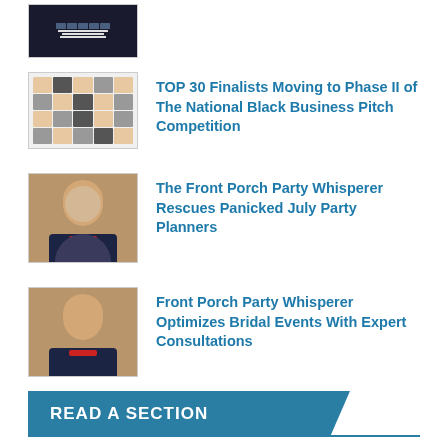[Figure (screenshot): Thumbnail image showing text/banner graphic at top]
TOP 30 Finalists Moving to Phase II of The National Black Business Pitch Competition
[Figure (photo): Thumbnail mosaic of people photos]
The Front Porch Party Whisperer Rescues Panicked July Party Planners
[Figure (photo): Headshot of man in dark suit with red tie]
Front Porch Party Whisperer Optimizes Bridal Events With Expert Consultations
[Figure (photo): Headshot of man in dark suit with red tie]
READ A SECTION
Culture & Society
Education
Expert Insights